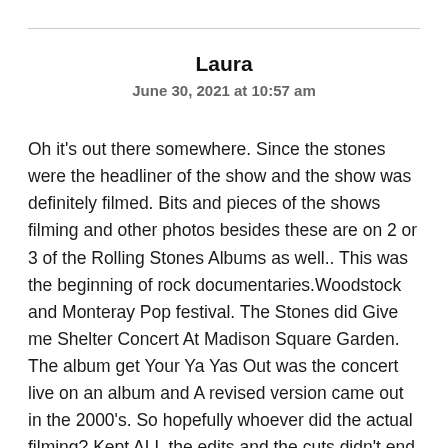Laura
June 30, 2021 at 10:57 am
Oh it's out there somewhere. Since the stones were the headliner of the show and the show was definitely filmed. Bits and pieces of the shows filming and other photos besides these are on 2 or 3 of the Rolling Stones Albums as well.. This was the beginning of rock documentaries.Woodstock and Monteray Pop festival. The Stones did Give me Shelter Concert At Madison Square Garden. The album get Your Ya Yas Out was the concert live on an album and A revised version came out in the 2000's. So hopefully whoever did the actual filming? Kept ALL the edits and the cuts didn't end up on the floor and if they did someone was smart enough to pick them up! Or there's an old